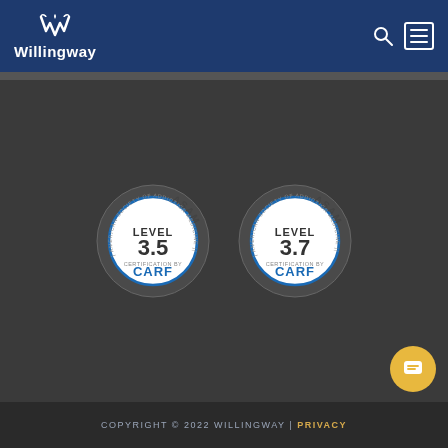Willingway
[Figure (illustration): Two circular ASAM certification badges side by side. Left badge: ASAM Level 3.5 Certification by CARF, American Society of Addiction Medicine. Right badge: ASAM Level 3.7 Certification by CARF, American Society of Addiction Medicine.]
COPYRIGHT © 2022 WILLINGWAY | PRIVACY